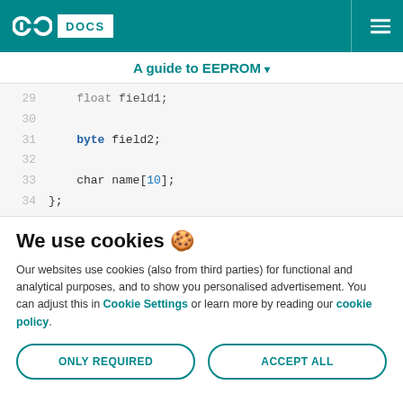Arduino DOCS
A guide to EEPROM
[Figure (screenshot): Code snippet showing lines 29-34 of Arduino code with float field1, byte field2, char name[10], and closing brace]
We use cookies 🍪
Our websites use cookies (also from third parties) for functional and analytical purposes, and to show you personalised advertisement. You can adjust this in Cookie Settings or learn more by reading our cookie policy.
ONLY REQUIRED
ACCEPT ALL